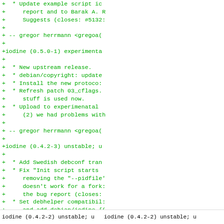+  * Update example script i
+     report and to Barak A. R
+     Suggests (closes: #5132
+
+ -- gregor herrmann <gregoa(
+
+iodine (0.5.0-1) experimenta
+
+  * New upstream release.
+  * debian/copyright: update
+  * Install the new protoco:
+  * Refresh patch 03_cflags.
+     stuff is used now.
+  * Upload to experimenatal
+     (2) we had problems with
+
+ -- gregor herrmann <gregoa(
+
+iodine (0.4.2-3) unstable; u
+
+  * Add Swedish debconf tra
+  * Fix "Init script starts
+     removing the "--pidfile'
+     doesn't work for a fork:
+     the bug report (closes:
+  * Set debhelper compatibil
+     and add debian/iodine.{(
+  * debian/copyright: update
+
+ -- gregor herrmann <gregoa(
+
iodine (0.4.2-2) unstable; u  iodine (0.4.2-2) unstable; u